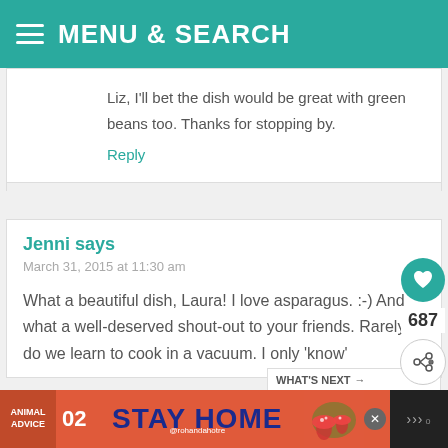MENU & SEARCH
Liz, I'll bet the dish would be great with green beans too. Thanks for stopping by.
Reply
Jenni says
March 31, 2015 at 11:30 am
What a beautiful dish, Laura! I love asparagus. :-) And what a well-deserved shout-out to your friends. Rarely do we learn to cook in a vacuum. I only 'know'
[Figure (other): Food thumbnail image - green vegetable dish]
WHAT'S NEXT → Stir-Fried Ginger...
[Figure (screenshot): Advertisement banner - STAY HOME with animal advice 02, orange background with mushroom illustration. Handle @rohandahotre]